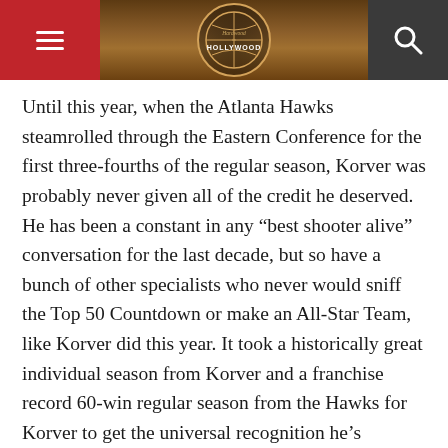Hardwood to Hollywood — navigation header with hamburger menu, logo, and search icon
Until this year, when the Atlanta Hawks steamrolled through the Eastern Conference for the first three-fourths of the regular season, Korver was probably never given all of the credit he deserved. He has been a constant in any “best shooter alive” conversation for the last decade, but so have a bunch of other specialists who never would sniff the Top 50 Countdown or make an All-Star Team, like Korver did this year. It took a historically great individual season from Korver and a franchise record 60-win regular season from the Hawks for Korver to get the universal recognition he’s deserved for quite some time now.
Without the Hawks, Korver probably isn’t ranked in the top 50. But without Korver, the Hawks definitely don’t win 60 games. The marriage between Korver and Atlanta is the...